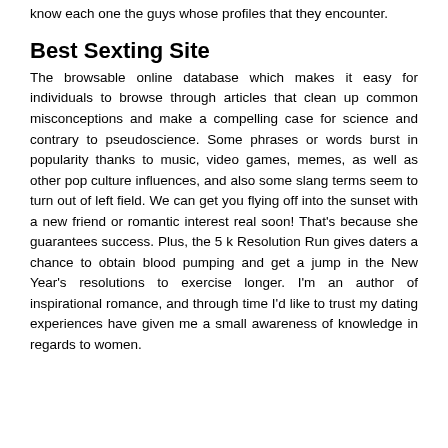know each one the guys whose profiles that they encounter.
Best Sexting Site
The browsable online database which makes it easy for individuals to browse through articles that clean up common misconceptions and make a compelling case for science and contrary to pseudoscience. Some phrases or words burst in popularity thanks to music, video games, memes, as well as other pop culture influences, and also some slang terms seem to turn out of left field. We can get you flying off into the sunset with a new friend or romantic interest real soon! That's because she guarantees success. Plus, the 5 k Resolution Run gives daters a chance to obtain blood pumping and get a jump in the New Year's resolutions to exercise longer. I'm an author of inspirational romance, and through time I'd like to trust my dating experiences have given me a small awareness of knowledge in regards to women.